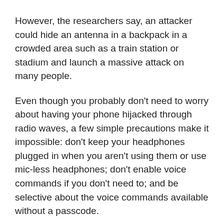However, the researchers say, an attacker could hide an antenna in a backpack in a crowded area such as a train station or stadium and launch a massive attack on many people.
Even though you probably don't need to worry about having your phone hijacked through radio waves, a few simple precautions make it impossible: don't keep your headphones plugged in when you aren't using them or use mic-less headphones; don't enable voice commands if you don't need to; and be selective about the voice commands available without a passcode.
Even if this attack isn't very realistic, we've seen